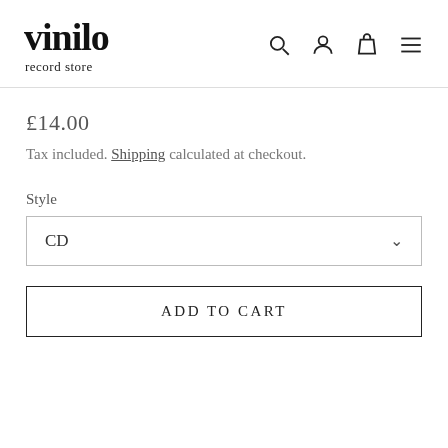[Figure (logo): Vinilo record store logo — bold serif text 'vinilo' with 'record store' subtitle below]
£14.00
Tax included. Shipping calculated at checkout.
Style
CD
ADD TO CART